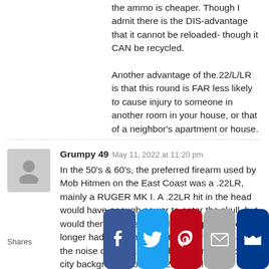the ammo is cheaper. Though I admit there is the DIS-advantage that it cannot be reloaded- though it CAN be recycled.
Another advantage of the.22/L/LR is that this round is FAR less likely to cause injury to someone in another room in your house, or that of a neighbor's apartment or house.
Grumpy 49  May 11, 2022 at 11:20 pm
In the 50's & 60's, the preferred firearm used by Mob Hitmen on the East Coast was a .22LR, mainly a RUGER MK I. A .22LR hit in the head would have enough power to enter the skull, but would then bounce around, as it typically no longer had enough power to exit. In most cases, the noise of a .22LR would not be noticed over city background noise. A .22LR will easily
Shares